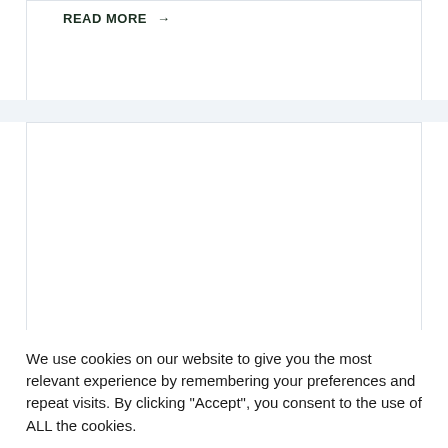READ MORE →
We use cookies on our website to give you the most relevant experience by remembering your preferences and repeat visits. By clicking "Accept", you consent to the use of ALL the cookies.
Cookie settings
ACCEPT